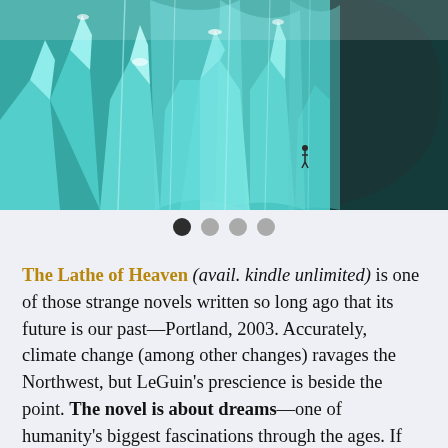[Figure (illustration): Book cover art for 'The Lathe of Heaven' showing a large face made of ice/glacier formations in teal and white tones, with small human figures visible among the icy landscape]
● ○ ○ ○  (carousel navigation dots)
The Lathe of Heaven (avail. kindle unlimited) is one of those strange novels written so long ago that its future is our past—Portland, 2003. Accurately, climate change (among other changes) ravages the Northwest, but LeGuin's prescience is beside the point. The novel is about dreams—one of humanity's biggest fascinations through the ages. If you want your brain bent a little bit—and the edges of reality